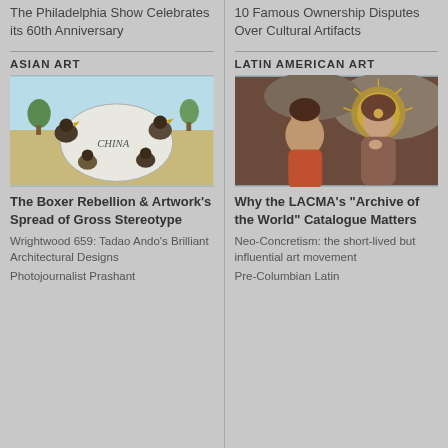The Philadelphia Show Celebrates its 60th Anniversary
10 Famous Ownership Disputes Over Cultural Artifacts
ASIAN ART
[Figure (illustration): Illustration showing roosters surrounding a large white shape with 'CHINA' written on it, with a landscape background.]
The Boxer Rebellion & Artwork's Spread of Gross Stereotype
Wrightwood 659: Tadao Ando's Brilliant Architectural Designs
Photojournalist Prashant
LATIN AMERICAN ART
[Figure (photo): Painting of two women, one wearing a golden crown/halo, in a classical religious style.]
Why the LACMA's "Archive of the World" Catalogue Matters
Neo-Concretism: the short-lived but influential art movement
Pre-Columbian Latin